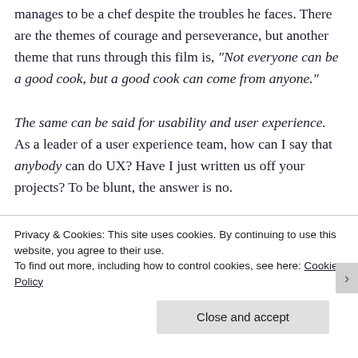manages to be a chef despite the troubles he faces. There are the themes of courage and perseverance, but another theme that runs through this film is, "Not everyone can be a good cook, but a good cook can come from anyone."

The same can be said for usability and user experience. As a leader of a user experience team, how can I say that anybody can do UX? Have I just written us off your projects? To be blunt, the answer is no.
Privacy & Cookies: This site uses cookies. By continuing to use this website, you agree to their use.
To find out more, including how to control cookies, see here: Cookie Policy